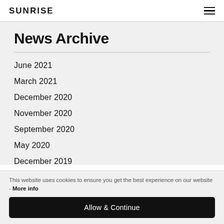SUNRISE
News Archive
June 2021
March 2021
December 2020
November 2020
September 2020
May 2020
December 2019
September 2019
This website uses cookies to ensure you get the best experience on our website - More info
Allow & Continue